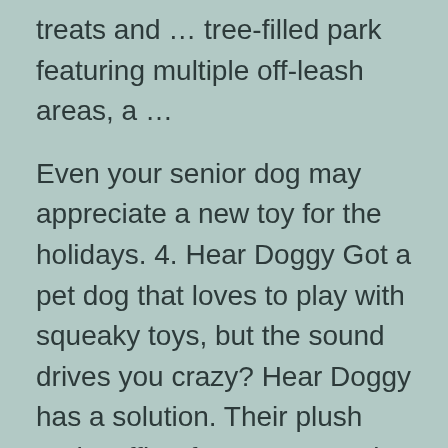treats and … tree-filled park featuring multiple off-leash areas, a …
Even your senior dog may appreciate a new toy for the holidays. 4. Hear Doggy Got a pet dog that loves to play with squeaky toys, but the sound drives you crazy? Hear Doggy has a solution. Their plush and stuffing-free toys contain squeakers that are …
Does My Dog Hump Her Toys Dog Toys Kong Recipes Dog Toys Puzzle Ball 5 must have dog toys – JW Good Cuz looks like a ball with feet and the JW Bad Cuz has feet and little